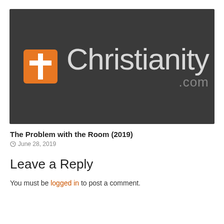[Figure (logo): Christianity.com logo: orange square with white cross icon on left, text 'Christianity' in large light gray font, '.com' in smaller gray below, all on dark gray background]
The Problem with the Room (2019)
June 28, 2019
Leave a Reply
You must be logged in to post a comment.